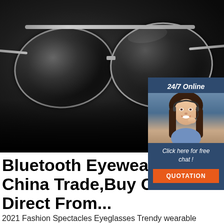[Figure (photo): Product listing page showing aviator sunglasses on dark background with a customer service chat widget overlay showing a woman with headset, '24/7 Online' text, 'Click here for free chat!' text, and an orange QUOTATION button]
Bluetooth Eyewear China Trade,Buy China Direct From...
2021 Fashion Spectacles Eyeglasses Trendy wearable